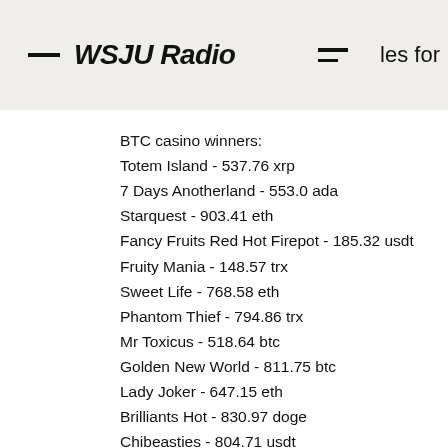WSJU Radio
BTC casino winners:
Totem Island - 537.76 xrp
7 Days Anotherland - 553.0 ada
Starquest - 903.41 eth
Fancy Fruits Red Hot Firepot - 185.32 usdt
Fruity Mania - 148.57 trx
Sweet Life - 768.58 eth
Phantom Thief - 794.86 trx
Mr Toxicus - 518.64 btc
Golden New World - 811.75 btc
Lady Joker - 647.15 eth
Brilliants Hot - 830.97 doge
Chibeasties - 804.71 usdt
Epic Gladiators - 768.57 eth
Dragon Drops - 879.81 btc
Best Of Luck - 702.77 btc